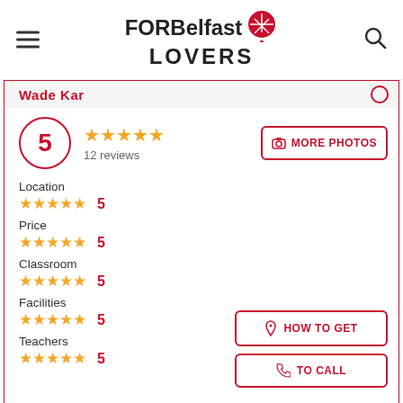FOR Belfast LOVERS
Wade Kar
5 — 12 reviews
MORE PHOTOS
Location
5
Price
5
Classroom
5
Facilities
5
Teachers
5
HOW TO GET
TO CALL